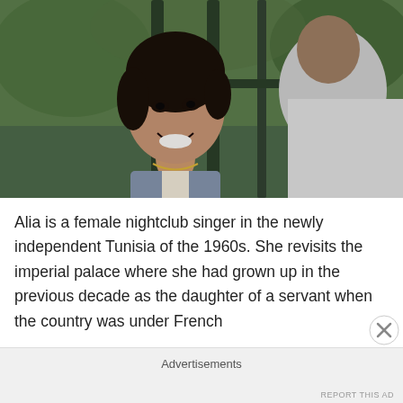[Figure (photo): A smiling young woman with dark hair seen through green metal gate bars, facing a man whose back is to the camera, wearing a white shirt. Outdoor setting with greenery in background.]
Alia is a female nightclub singer in the newly independent Tunisia of the 1960s. She revisits the imperial palace where she had grown up in the previous decade as the daughter of a servant when the country was under French
Advertisements
REPORT THIS AD